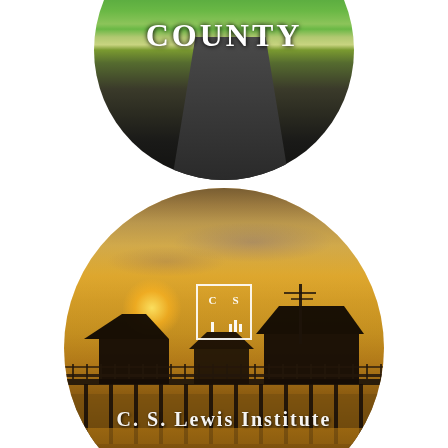[Figure (photo): Circular cropped photo of a green countryside road scene with text COUNTY overlaid in white serif letters]
[Figure (logo): CSLI square logo with letters C, S, L, I arranged in a 2x2 grid inside a white border]
[Figure (photo): Circular cropped photo of a waterfront pier/dock at sunset with warm golden-orange sky. CSLI logo and 'C. S. Lewis Institute' text overlaid in white serif letters]